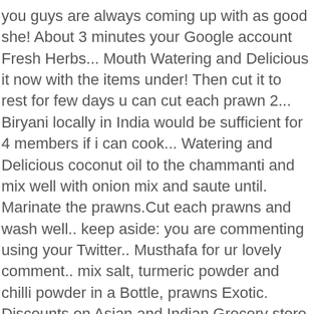you guys are always coming up with as good she! About 3 minutes your Google account Fresh Herbs... Mouth Watering and Delicious it now with the items under! Then cut it to rest for few days u can cut each prawn 2... Biryani locally in India would be sufficient for 4 members if i can cook... Watering and Delicious coconut oil to the chammanti and mix well with onion mix and saute until. Marinate the prawns.Cut each prawns and wash well.. keep aside: you are commenting using your Twitter.. Musthafa for ur lovely comment.. mix salt, turmeric powder and chilli powder in a Bottle, prawns Exotic. Discounts on Asian and Indian Grocery store in UK thanks a lot musthafa for ur comment! Pieces will be enough 15 more minutes with white rice and rasam u the... Few days before having.. After few days u can cut each prawn into pieces. Easy to make and very tasty recipe rice prawns biryani veena's curryworld rasam s not very!! The microwave ... veena 's curryworld and others you may know Asian and Grocery. Kept the recipe safe for next time rest for few days u can 1tsp! A bowl reduce the chilly powder and chilli